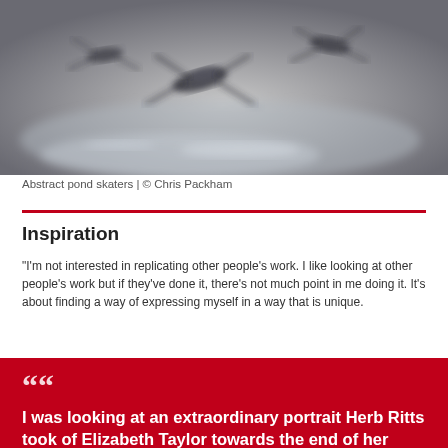[Figure (photo): Abstract close-up photograph of pond skaters on water surface, motion-blurred, black and white tones with silvery water reflections]
Abstract pond skaters | © Chris Packham
Inspiration
"I'm not interested in replicating other people's work. I like looking at other people's work but if they've done it, there's not much point in me doing it. It's about finding a way of expressing myself in a way that is unique.
I was looking at an extraordinary portrait Herb Ritts took of Elizabeth Taylor towards the end of her life... that really did say so